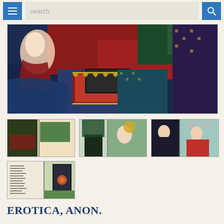search
[Figure (photo): Main large image of Japanese woodblock print erotica, showing figures in colorful robes with a lacquered box]
[Figure (photo): Thumbnail 1: Japanese woodblock print showing figures in interior scene]
[Figure (photo): Thumbnail 2: Japanese woodblock print showing figures with fan]
[Figure (photo): Thumbnail 3: Japanese woodblock print showing figures in red and teal]
[Figure (photo): Thumbnail 4: Japanese woodblock print showing text page with calligraphy and floral panels]
EROTICA, ANON.